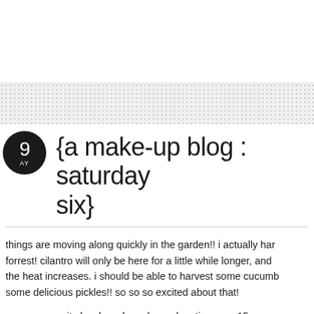{a make-up blog : saturday six}
things are moving along quickly in the garden!! i actually har... forrest! cilantro will only be here for a little while longer, and... the heat increases. i should be able to harvest some cucumb... some delicious pickles!! so so so excited about that!
on a community level, we have been donating over 15 poun...